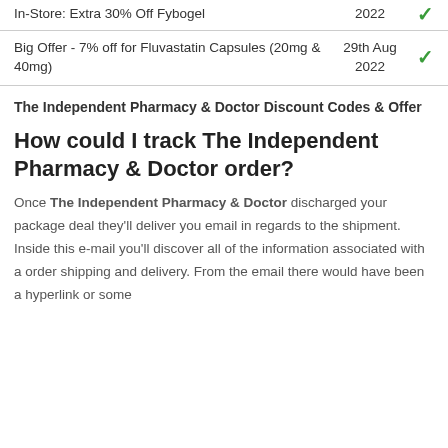| Offer | Date | Valid |
| --- | --- | --- |
| In-Store: Extra 30% Off Fybogel | 2022 | ✓ |
| Big Offer - 7% off for Fluvastatin Capsules (20mg & 40mg) | 29th Aug 2022 | ✓ |
The Independent Pharmacy & Doctor Discount Codes & Offer
How could I track The Independent Pharmacy & Doctor order?
Once The Independent Pharmacy & Doctor discharged your package deal they'll deliver you email in regards to the shipment. Inside this e-mail you'll discover all of the information associated with a order shipping and delivery. From the email there would have been a hyperlink or some